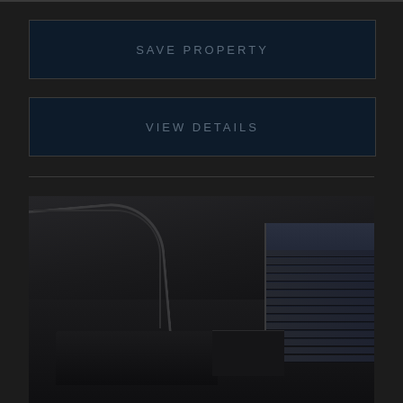SAVE PROPERTY
VIEW DETAILS
[Figure (photo): Dark interior room photo showing architectural archway, high ceilings, furniture, and window with blinds on the right side. Very dark/underexposed image of what appears to be a luxury apartment or home interior.]